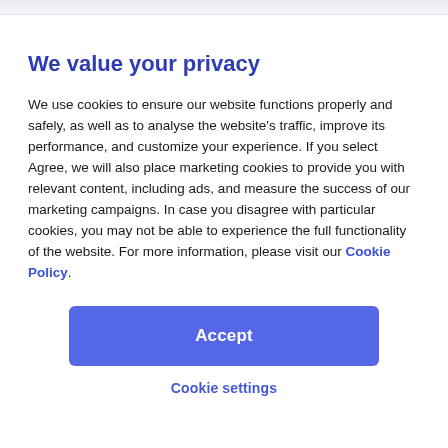We value your privacy
We use cookies to ensure our website functions properly and safely, as well as to analyse the website’s traffic, improve its performance, and customize your experience. If you select Agree, we will also place marketing cookies to provide you with relevant content, including ads, and measure the success of our marketing campaigns. In case you disagree with particular cookies, you may not be able to experience the full functionality of the website. For more information, please visit our Cookie Policy.
Accept
Cookie settings